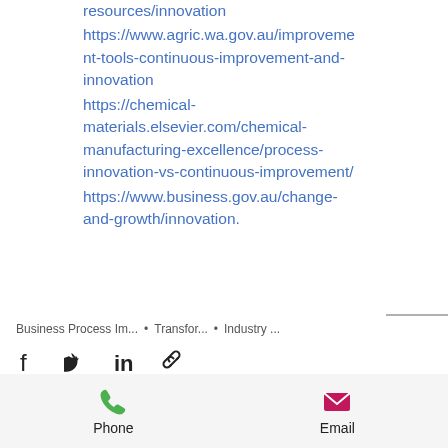resources/innovation https://www.agric.wa.gov.au/improvement-tools-continuous-improvement-and-innovation https://chemical-materials.elsevier.com/chemical-manufacturing-excellence/process-innovation-vs-continuous-improvement/ https://www.business.gov.au/change-and-growth/innovation.
Business Process Im... • Transfor... • Industry ...
Phone   Email